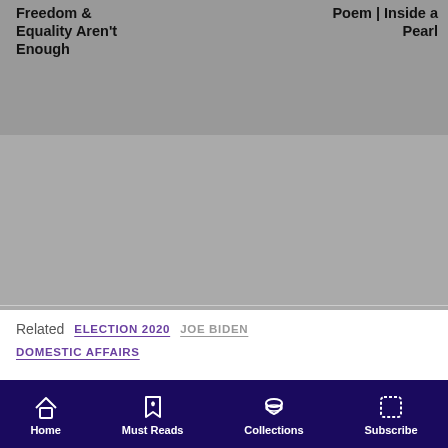Freedom & Equality Aren't Enough
Poem | Inside a Pearl
[Figure (photo): Gray background image placeholder top section]
Related   ELECTION 2020   JOE BIDEN   DOMESTIC AFFAIRS
[Figure (photo): Photo of Liz Cheney speaking at podium, pointing finger, red background]
The Downfall of Liz Cheney
By Griffin Oleynick
May 20, 2021
Home   Must Reads   Collections   Subscribe